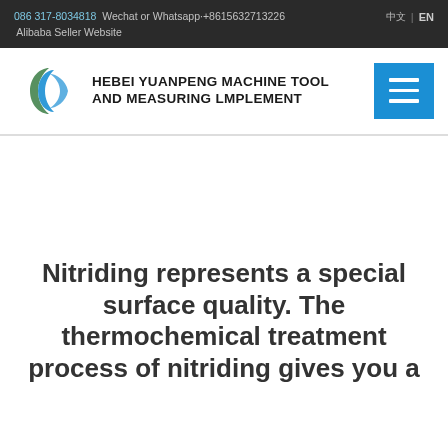086 317-8034818  Wechat or Whatsapp+8615632713226  Alibaba Seller Website  | EN
[Figure (logo): Hebei Yuanpeng Machine Tool and Measuring Implement company logo with green/blue swoosh icon and bold text]
Nitriding represents a special surface quality. The thermochemical treatment process of nitriding gives you a